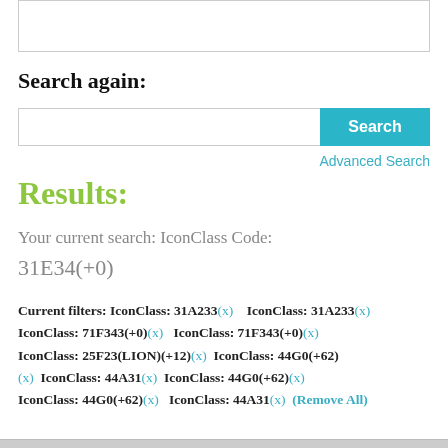[Figure (screenshot): Top partial UI box from previous content]
Search again:
[Figure (screenshot): Search input bar with Search button]
Advanced Search
Results:
Your current search: IconClass Code: 31E34(+0)
Current filters: IconClass: 31A233(x)   IconClass: 31A233(x) IconClass: 71F343(+0)(x)   IconClass: 71F343(+0)(x) IconClass: 25F23(LION)(+12)(x)   IconClass: 44G0(+62)(x)   IconClass: 44A31(x)   IconClass: 44G0(+62)(x) IconClass: 44G0(+62)(x)   IconClass: 44A31(x)   (Remove All)